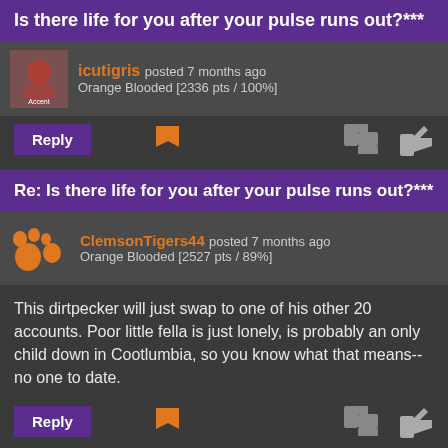Is there life for you after your pulse runs out?***
icutigris posted 7 months ago
Orange Blooded [2336 pts / 100%]
Reply
Re: Is there life for you after your pulse runs out?***
ClemsonTigers44 posted 7 months ago
Orange Blooded [2527 pts / 89%]
This dirtpecker will just swap to one of his other 20 accounts. Poor little fella is just lonely, is probably an only child down in Cootlumbia, so you know what that means--no one to date.
Reply